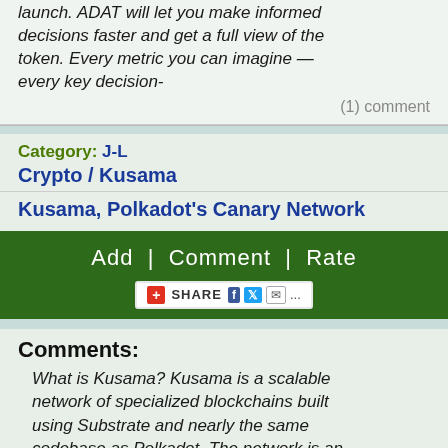launch. ADAT will let you make informed decisions faster and get a full view of the token. Every metric you can imagine — every key decision-
(1) comment
Category: J-L
Crypto / Kusama
Kusama, Polkadot's Canary Network
Add  |  Comment  |  Rate
SHARE
Comments:
What is Kusama? Kusama is a scalable network of specialized blockchains built using Substrate and nearly the same codebase as Polkadot. The network is an experimental development environment for teams who want to move fast and